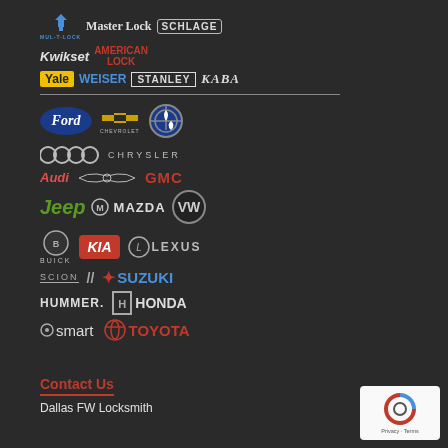[Figure (logo): Collage of lock brand logos: Mul-T-Lock, Master Lock, Schlage, Kwikset, American Lock, Yale, Weiser, Stanley, Kaba. Below a divider: automotive brand logos: Ford, Chevrolet, BMW, Audi, Chrysler, GMC, Jeep, Mazda, VW, Buick, Kia, Lexus, Scion, Suzuki, Hummer, Honda, Smart, Toyota.]
Contact Us
Dallas FW Locksmith